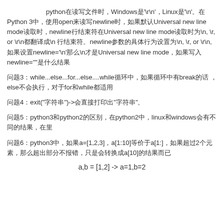python在读写文件时，Windows是'\r\n'，Linux是'\n'。在Python 3中，使用open来读写newline时，如果默认Universal new line mode读取时，newline行结束符
在Universal new line mode读取时为\n, \r, or \r\n都翻译成\n 行结束符。
newline参数的具体行为设置为\n, \r, or \r\n, 如果设置newline='\n'那么\n才是
Universal new line mode，如果写入newline=""是什么结果
问题3：while...else...for...else....while循环中，如果循环中有break的话 ，else不会执行，对于for和while都适用
问题4：exit("字符串")->会直接打印出"字符串"。
问题5：python3和python2的区别，在python2中，linux和windows会有不同的结果，在里
问题6：python3中，如果a=[1,2,3]，a[1:10]等价于a[1:]，如果超过2个元素，那么超出部分不报错，只是会转换成a[10]的结果而已
a,b = [1,2] -> a=1,b=2